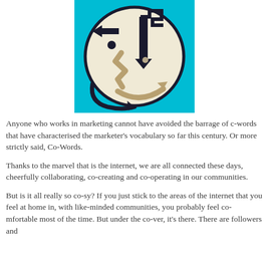[Figure (illustration): Abstract illustration of a face composed of geometric shapes — arrows, zigzag lines, dots — on a circular cream/white background set against a teal/cyan rectangular background. The face is stylized with dark navy arrows for eyebrows/hair, a tan/khaki zigzag nose, a curved tan smile arrow, and circular dot eyes, all within a circle outlined in dark navy.]
Anyone who works in marketing cannot have avoided the barrage of c-words that have characterised the marketer's vocabulary so far this century. Or more strictly said, Co-Words.
Thanks to the marvel that is the internet, we are all connected these days, cheerfully collaborating, co-creating and co-operating in our communities.
But is it all really so co-sy? If you just stick to the areas of the internet that you feel at home in, with like-minded communities, you probably feel co-mfortable most of the time. But under the co-ver, it's there. There are followers and